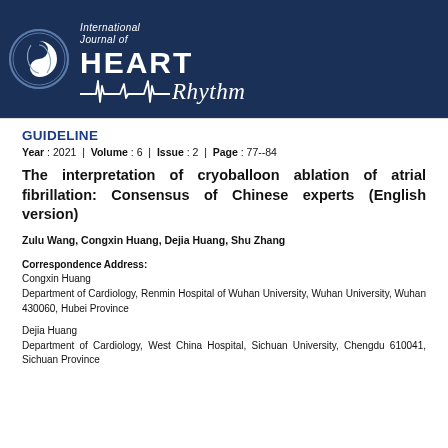International Journal of HEART Rhythm
GUIDELINE
Year : 2021  |  Volume : 6  |  Issue : 2  |  Page : 77--84
The interpretation of cryoballoon ablation of atrial fibrillation: Consensus of Chinese experts (English version)
Zulu Wang, Congxin Huang, Dejia Huang, Shu Zhang
Correspondence Address:
Congxin Huang
Department of Cardiology, Renmin Hospital of Wuhan University, Wuhan University, Wuhan 430060, Hubei Province
Dejia Huang
Department of Cardiology, West China Hospital, Sichuan University, Chengdu 610041, Sichuan Province